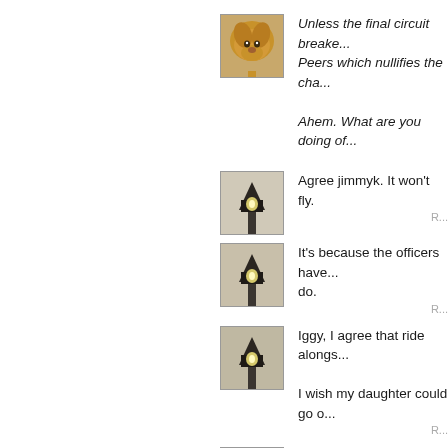[Figure (photo): Golden retriever dog avatar photo]
Unless the final circuit breaker... Peers which nullifies the char...

Ahem. What are you doing of...
[Figure (photo): Street lamp post avatar photo]
Agree jimmyk. It won't fly.
[Figure (photo): Street lamp post avatar photo]
It's because the officers have... do.
[Figure (photo): Street lamp post avatar photo]
Iggy, I agree that ride alongs...

I wish my daughter could go o...
[Figure (photo): Guitar headstock avatar photo]
Biden needs to be put on not...